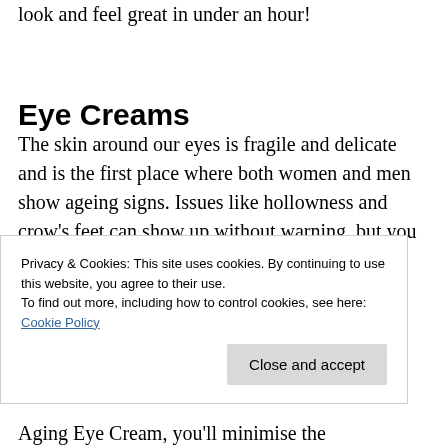look and feel great in under an hour!
Eye Creams
The skin around our eyes is fragile and delicate and is the first place where both women and men show ageing signs. Issues like hollowness and crow's feet can show up without warning, but you can choose a quality eye cream to prevent them
Privacy & Cookies: This site uses cookies. By continuing to use this website, you agree to their use.
To find out more, including how to control cookies, see here: Cookie Policy
Aging Eye Cream, you'll minimise the